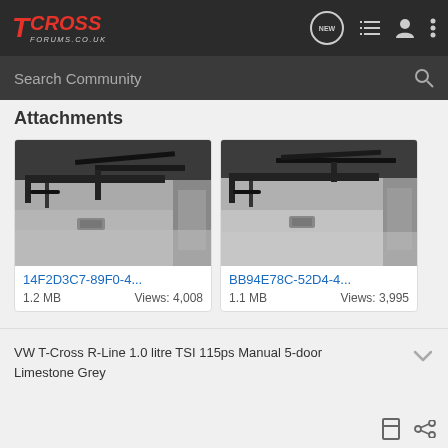T CROSS FORUMS.CO.UK
Search Community
Attachments
[Figure (photo): Car interior photo showing under-seat area with carpet, black metal frame and bracket]
14F2D3C7-89F0-4...
1.2 MB   Views: 4,008
[Figure (photo): Car interior photo showing under-seat area similar to first image, from slightly different angle]
BB94E78C-52D4-4...
1.1 MB   Views: 3,995
VW T-Cross R-Line 1.0 litre TSI 115ps Manual 5-door Limestone Grey